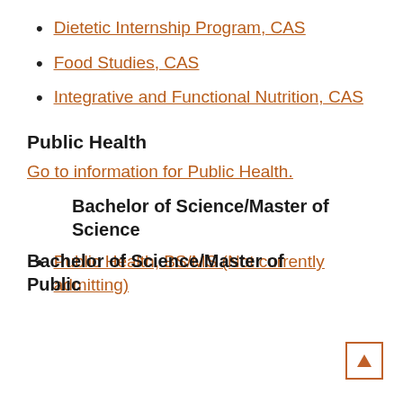Dietetic Internship Program, CAS
Food Studies, CAS
Integrative and Functional Nutrition, CAS
Public Health
Go to information for Public Health.
Bachelor of Science/Master of Science
Public Health, BS/MS (Not currently admitting)
Bachelor of Science/Master of Public